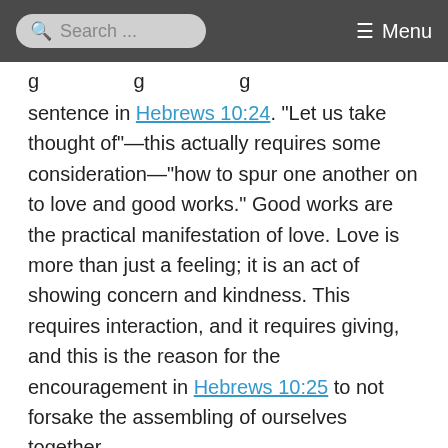Search ... Menu
…g … g … g … sentence in Hebrews 10:24. “Let us take thought of”—this actually requires some consideration—“how to spur one another on to love and good works.” Good works are the practical manifestation of love. Love is more than just a feeling; it is an act of showing concern and kindness. This requires interaction, and it requires giving, and this is the reason for the encouragement in Hebrews 10:25 to not forsake the assembling of ourselves together.
If church for you is only listening to the radio or TV and does not involve a connection to other believers, it is not enough. Without interaction you do not have the opportunity to give. That is not to say that the